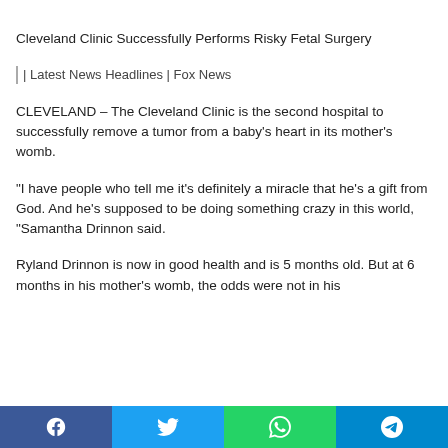Cleveland Clinic Successfully Performs Risky Fetal Surgery
| Latest News Headlines | Fox News
CLEVELAND – The Cleveland Clinic is the second hospital to successfully remove a tumor from a baby’s heart in its mother’s womb.
“I have people who tell me it’s definitely a miracle that he’s a gift from God. And he’s supposed to be doing something crazy in this world, “Samantha Drinnon said.
Ryland Drinnon is now in good health and is 5 months old. But at 6 months in his mother’s womb, the odds were not in his